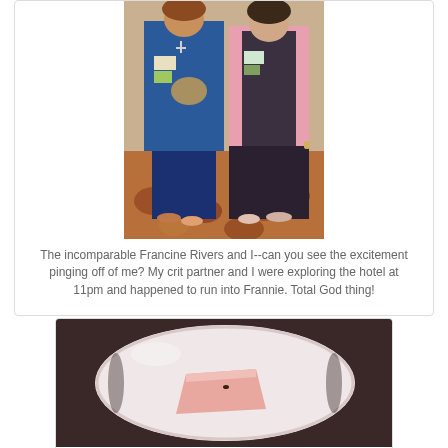[Figure (photo): Two women standing together in a hotel hallway with patterned carpet, both wearing conference name badges. One in blue outfit with a bag, one in pink cardigan and dark clothing.]
The incomparable Francine Rivers and I--can you see the excitement pinging off of me? My crit partner and I were exploring the hotel at 11pm and happened to run into Frannie. Total God thing!
[Figure (photo): A white plate with what appears to be a piece of cake or dessert with pink/red coloring, photographed from above on a dark surface.]